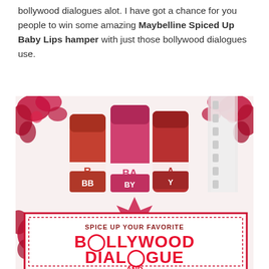bollywood dialogues alot. I have got a chance for you people to win some amazing Maybelline Spiced Up Baby Lips hamper with just those bollywood dialogues use.
[Figure (photo): Maybelline Baby Lips Spiced Up promotional image showing three red Baby Lips lip balm products with decorative floral motifs and text reading 'SPICE UP YOUR FAVORITE BOLLYWOOD DIALOGUE AND']